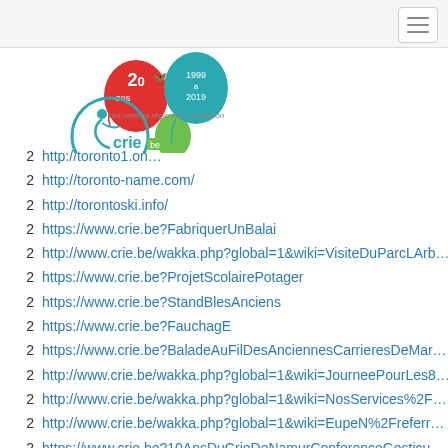[Figure (logo): CRIE.be logo with balloons showing '20 ans 1999-2019' and text 'Les centres régionaux d'initiation' with stylized figure on circle]
2   http://toronto1.on...
2   http://toronto-name.com/
2   http://torontoski.info/
2   https://www.crie.be?FabriquerUnBalai
2   http://www.crie.be/wakka.php?global=1&wiki=VisiteDuParcLArb...
2   https://www.crie.be?ProjetScolairePotager
2   https://www.crie.be?StandBlesAnciens
2   https://www.crie.be?FauchagE
2   https://www.crie.be?BaladeAuFilDesAnciennesCarrieresDeMar...
2   http://www.crie.be/wakka.php?global=1&wiki=JourneePourLes8...
2   http://www.crie.be/wakka.php?global=1&wiki=NosServices%2F...
2   http://www.crie.be/wakka.php?global=1&wiki=EupeN%2Freferr...
2   https://www.crie.be?10AnsDuCrieDeNamurConferenceGesticu...
2   http://kryvyi-rihonline.blogspot.com/
2   http://odesaonline.blogspot.com/
2   http://poltava-online.blogspot.com/
2   http://rivneonline.blogspot.com/
2   http://chernivtsionline.blogspot.com/
2   http://zaporizhzhiaonline.blogspot.com/
2   https://www.crie.be?StagePourLes1216AnsMariemontTokyoE...